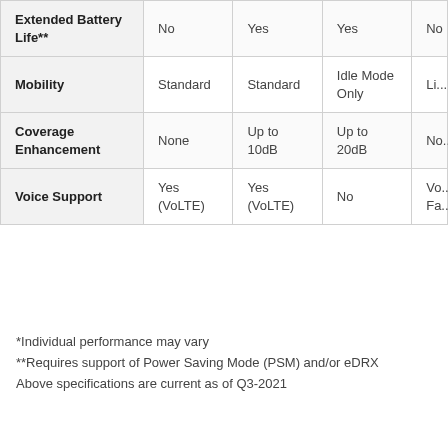| Feature | Col1 | Col2 | Col3 | Col4 |
| --- | --- | --- | --- | --- |
| Extended Battery Life** | No | Yes | Yes | No |
| Mobility | Standard | Standard | Idle Mode Only | Li... |
| Coverage Enhancement | None | Up to 10dB | Up to 20dB | No... |
| Voice Support | Yes (VoLTE) | Yes (VoLTE) | No | Vo... Fa... |
*Individual performance may vary
**Requires support of Power Saving Mode (PSM) and/or eDRX
Above specifications are current as of Q3-2021